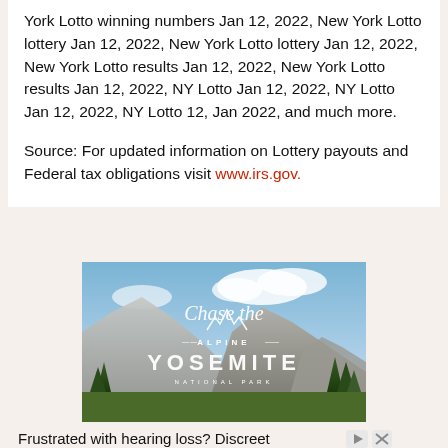York Lotto winning numbers Jan 12, 2022, New York Lotto lottery Jan 12, 2022, New York Lotto lottery Jan 12, 2022, New York Lotto results Jan 12, 2022, New York Lotto results Jan 12, 2022, NY Lotto Jan 12, 2022, NY Lotto Jan 12, 2022, NY Lotto 12, Jan 2022, and much more.
Source: For updated information on Lottery payouts and Federal tax obligations visit www.irs.gov.
[Figure (photo): Advertisement image showing Yosemite National Park mountains with overlay text: Chase the Alpine - YOSEMITE NATIONAL PARK]
Frustrated with hearing loss? Discreet technology. Clear sound.
Open
Ad